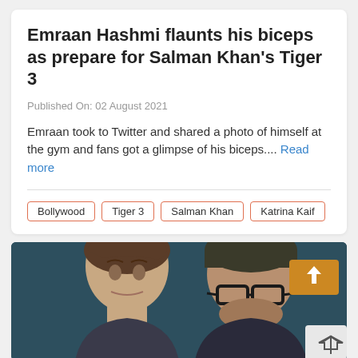Emraan Hashmi flaunts his biceps as prepare for Salman Khan's Tiger 3
Published On: 02 August 2021
Emraan took to Twitter and shared a photo of himself at the gym and fans got a glimpse of his biceps.... Read more
Bollywood
Tiger 3
Salman Khan
Katrina Kaif
[Figure (photo): Photo of two men against a dark teal background; the man on the left has short brown hair, the man on the right wears a dark knit hat and glasses. An orange button with an upward arrow is visible top-right, and a share icon is in the bottom-right corner.]